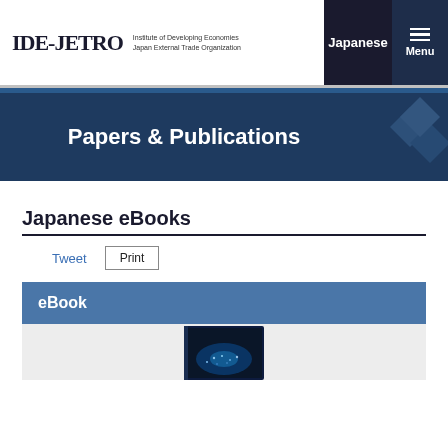[Figure (logo): IDE-JETRO logo with text: Institute of Developing Economies, Japan External Trade Organization]
Papers & Publications
Japanese eBooks
Tweet   Print
eBook
[Figure (photo): eBook cover showing a blue industrial/cityscape night scene]